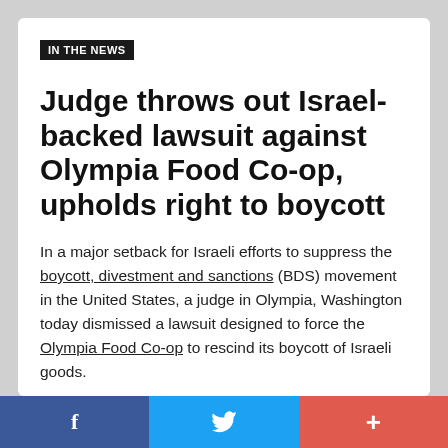IN THE NEWS
Judge throws out Israel-backed lawsuit against Olympia Food Co-op, upholds right to boycott
In a major setback for Israeli efforts to suppress the boycott, divestment and sanctions (BDS) movement in the United States, a judge in Olympia, Washington today dismissed a lawsuit designed to force the Olympia Food Co-op to rescind its boycott of Israeli goods.
The judge ruled that the lawsuit, brought by opponents of the boycott, violated a Washington State law designed to